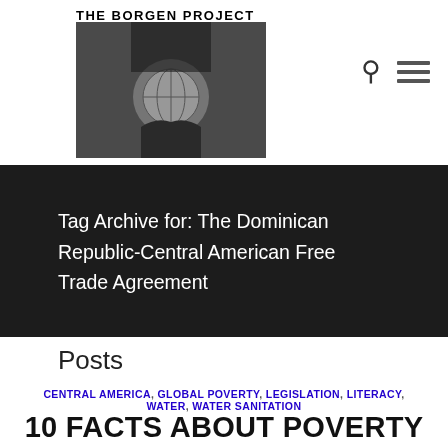THE BORGEN PROJECT
Tag Archive for: The Dominican Republic-Central American Free Trade Agreement
Posts
CENTRAL AMERICA, GLOBAL POVERTY, LEGISLATION, LITERACY, WATER, WATER SANITATION
10 FACTS ABOUT POVERTY IN CENTRAL AMERICA